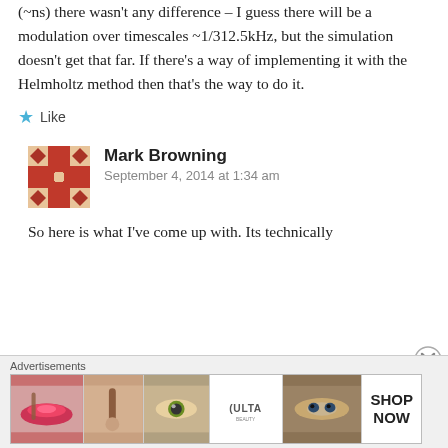(~ns) there wasn't any difference – I guess there will be a modulation over timescales ~1/312.5kHz, but the simulation doesn't get that far. If there's a way of implementing it with the Helmholtz method then that's the way to do it.
★ Like
Mark Browning
September 4, 2014 at 1:34 am
So here is what I've come up with. Its technically
Advertisements